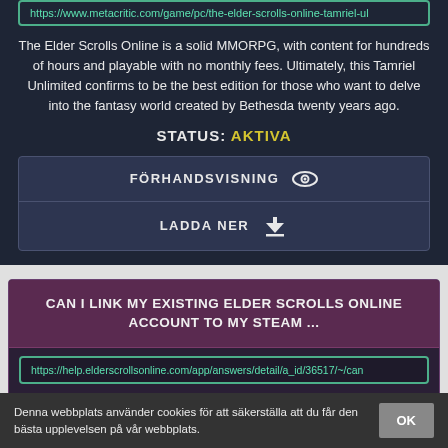https://www.metacritic.com/game/pc/the-elder-scrolls-online-tamriel-ul
The Elder Scrolls Online is a solid MMORPG, with content for hundreds of hours and playable with no monthly fees. Ultimately, this Tamriel Unlimited confirms to be the best edition for those who want to delve into the fantasy world created by Bethesda twenty years ago.
STATUS: AKTIVA
FÖRHANDSVISNING
LADDA NER
CAN I LINK MY EXISTING ELDER SCROLLS ONLINE ACCOUNT TO MY STEAM ...
https://help.elderscrollsonline.com/app/answers/detail/a_id/36517/~/can
If your version of The Elder Scrolls Online was not purchased through
Denna webbplats använder cookies för att säkerställa att du får den bästa upplevelsen på vår webbplats.